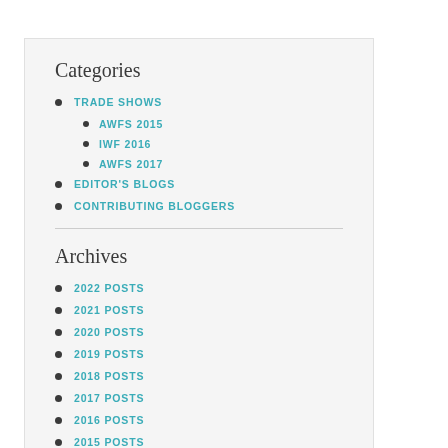Categories
TRADE SHOWS
AWFS 2015
IWF 2016
AWFS 2017
EDITOR'S BLOGS
CONTRIBUTING BLOGGERS
Archives
2022 POSTS
2021 POSTS
2020 POSTS
2019 POSTS
2018 POSTS
2017 POSTS
2016 POSTS
2015 POSTS